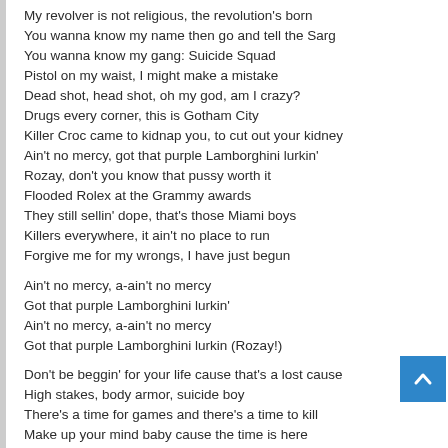My revolver is not religious, the revolution's born
You wanna know my name then go and tell the Sarg
You wanna know my gang: Suicide Squad
Pistol on my waist, I might make a mistake
Dead shot, head shot, oh my god, am I crazy?
Drugs every corner, this is Gotham City
Killer Croc came to kidnap you, to cut out your kidney
Ain't no mercy, got that purple Lamborghini lurkin'
Rozay, don't you know that pussy worth it
Flooded Rolex at the Grammy awards
They still sellin' dope, that's those Miami boys
Killers everywhere, it ain't no place to run
Forgive me for my wrongs, I have just begun
Ain't no mercy, a-ain't no mercy
Got that purple Lamborghini lurkin'
Ain't no mercy, a-ain't no mercy
Got that purple Lamborghini lurkin (Rozay!)
Don't be beggin' for your life cause that's a lost cause
High stakes, body armor, suicide boy
There's a time for games and there's a time to kill
Make up your mind baby cause the time is here
Capital murder, capital lettuce